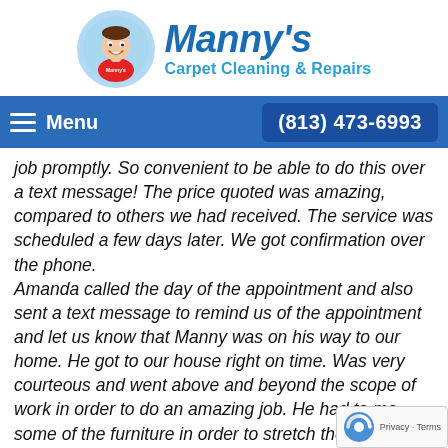[Figure (logo): Manny's Carpet Cleaning & Repairs logo with cartoon mascot in a circle and blue text]
Menu   (813) 473-6993
job promptly. So convenient to be able to do this over a text message! The price quoted was amazing, compared to others we had received. The service was scheduled a few days later. We got confirmation over the phone.
Amanda called the day of the appointment and also sent a text message to remind us of the appointment and let us know that Manny was on his way to our home. He got to our house right on time. Was very courteous and went above and beyond the scope of work in order to do an amazing job. He had to mo some of the furniture in order to stretch the carpet addition he did a minor repair at no extra charge to us.